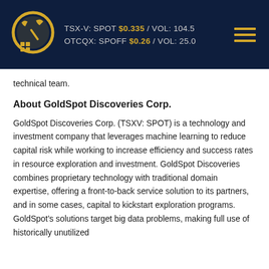TSX-V: SPOT $0.335 / VOL: 104.5 | OTCQX: SPOFF $0.26 / VOL: 25.0
technical team.
About GoldSpot Discoveries Corp.
GoldSpot Discoveries Corp. (TSXV: SPOT) is a technology and investment company that leverages machine learning to reduce capital risk while working to increase efficiency and success rates in resource exploration and investment. GoldSpot Discoveries combines proprietary technology with traditional domain expertise, offering a front-to-back service solution to its partners, and in some cases, capital to kickstart exploration programs. GoldSpot’s solutions target big data problems, making full use of historically unutilized data, better